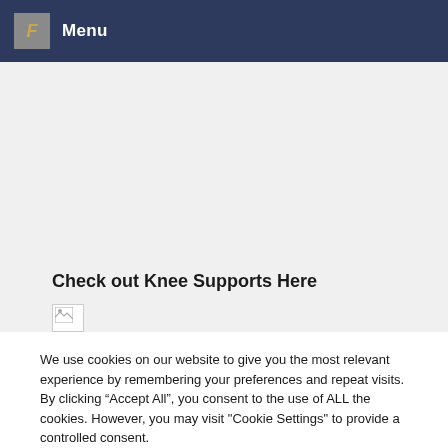Menu
Check out Knee Supports Here
[Figure (other): Broken image placeholder icon]
We use cookies on our website to give you the most relevant experience by remembering your preferences and repeat visits. By clicking “Accept All”, you consent to the use of ALL the cookies. However, you may visit "Cookie Settings" to provide a controlled consent.
Cookie Settings | Accept All